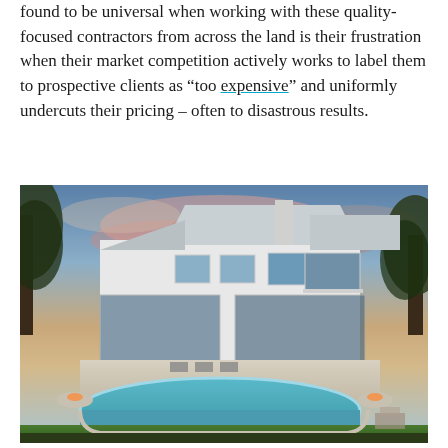found to be universal when working with these quality-focused contractors from across the land is their frustration when their market competition actively works to label them to prospective clients as “too expensive” and uniformly undercuts their pricing – often to disastrous results.
[Figure (photo): Aerial/elevated view of a large luxury white coastal-style home with multiple screened porches, balconies, and a curved swimming pool in the foreground, photographed at dusk with a dramatic sky.]